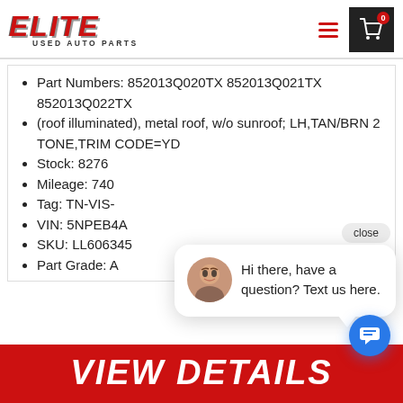[Figure (logo): Elite Used Auto Parts logo — red italic bold text 'ELITE' with 'USED AUTO PARTS' subtitle]
Part Numbers: 852013Q020TX 852013Q021TX 852013Q022TX
(roof illuminated), metal roof, w/o sunroof; LH,TAN/BRN 2 TONE,TRIM CODE=YD
Stock: 8276
Mileage: 740
Tag: TN-VIS-
VIN: 5NPEB4A
SKU: LL606345
Part Grade: A
Hi there, have a question? Text us here.
VIEW DETAILS